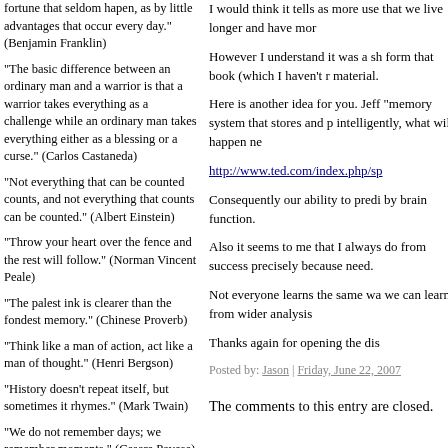fortune that seldom hapen, as by little advantages that occur every day." (Benjamin Franklin)
"The basic difference between an ordinary man and a warrior is that a warrior takes everything as a challenge while an ordinary man takes everything either as a blessing or a curse." (Carlos Castaneda)
"Not everything that can be counted counts, and not everything that counts can be counted." (Albert Einstein)
"Throw your heart over the fence and the rest will follow." (Norman Vincent Peale)
"The palest ink is clearer than the fondest memory." (Chinese Proverb)
"Think like a man of action, act like a man of thought." (Henri Bergson)
"History doesn’t repeat itself, but sometimes it rhymes." (Mark Twain)
"We do not remember days; we remember moments." (Cesare Pavese)
"The only way to have a friend is to be one." (Emerson)
"The only way around is through." (Robert Frost)
"Mountaintops inspire leaders but valleys mature them." (Winston Churchill)
I would think it tells as more use that we live longer and have more
However I understand it was a sh form that book (which I haven't r material.
Here is another idea for you. Jeff "memory system that stores and p intelligently, what will happen ne
http://www.ted.com/index.php/sp
Consequently our ability to predi by brain function.
Also it seems to me that I always do from success precisely because need.
Not everyone learns the same wa we can learn from wider analysis
Thanks again for opening the dis
Posted by: Jason | Friday, June 22, 2007
The comments to this entry are closed.